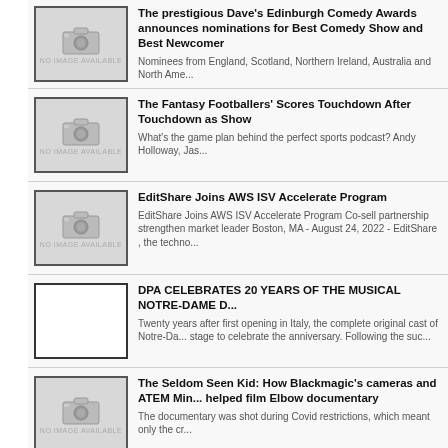The prestigious Dave's Edinburgh Comedy Awards announces nominations for Best Comedy Show and Best Newcomer
Nominees from England, Scotland, Northern Ireland, Australia and North Ame...
The Fantasy Footballers' Scores Touchdown After Touchdown as Apple Expands Sports Show
What's the game plan behind the perfect sports podcast? Andy Holloway, Jas...
EditShare Joins AWS ISV Accelerate Program
EditShare Joins AWS ISV Accelerate Program Co-sell partnership strengthen market leader Boston, MA - August 24, 2022 - EditShare , the techno...
DPA CELEBRATES 20 YEARS OF THE MUSICAL NOTRE-DAME D...
Twenty years after first opening in Italy, the complete original cast of Notre-Da... stage to celebrate the anniversary. Following the suc...
The Seldom Seen Kid: How Blackmagic's cameras and ATEM Min... helped film Elbow documentary
The documentary was shot during Covid restrictions, which meant only the cr...
Marco Lopez joins Clear-Com as VP of engineering
Lopez has over 30 years of experience in the broadcast technology industry... live production at Grass Valley By Jenny Priestley Publishe...
Prime Video commits to further investment in training next-gener...
Initiative includes funding for two students on the BA Production Technology...